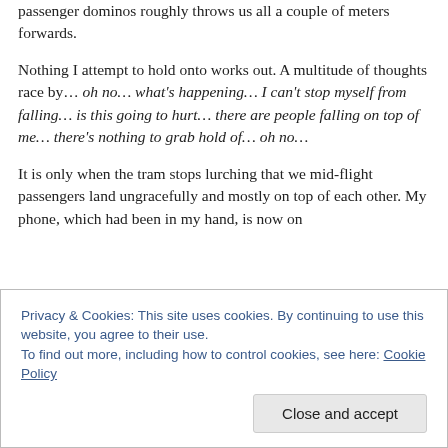passenger dominos roughly throws us all a couple of meters forwards.
Nothing I attempt to hold onto works out. A multitude of thoughts race by… oh no… what's happening… I can't stop myself from falling… is this going to hurt… there are people falling on top of me… there's nothing to grab hold of… oh no…
It is only when the tram stops lurching that we mid-flight passengers land ungracefully and mostly on top of each other. My phone, which had been in my hand, is now on
Privacy & Cookies: This site uses cookies. By continuing to use this website, you agree to their use.
To find out more, including how to control cookies, see here: Cookie Policy